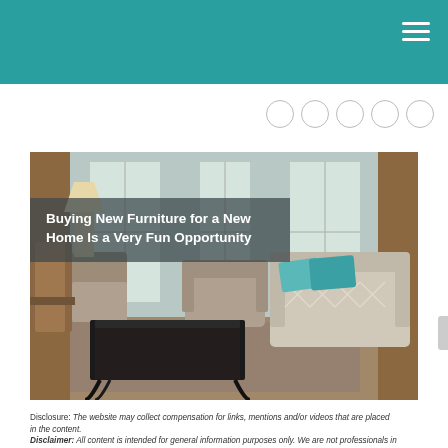[Figure (photo): Interior living room scene with sofa, armchair, coffee table, and large windows. Title overlay reads: Buying New Furniture for a New Home Is a Very Fun Opportunity]
Buying New Furniture for a New Home Is a Very Fun Opportunity
Disclosure: The website may collect compensation for links, mentions and/or videos that are placed in the content.
Disclaimer: All content is intended for general information purposes only. We are not professionals in any specialized field. Please consult an expert before making any decisions including ones with financial or personal wellbeing.